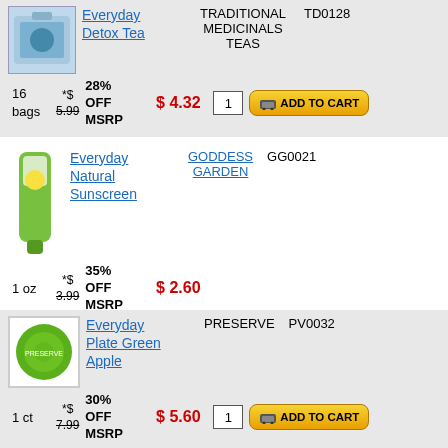Everyday Detox Tea | TRADITIONAL MEDICINALS TEAS | TD0128 | 16 bags | *$ 5.99 | 28% OFF MSRP | $4.32 | qty: 1 | ADD TO CART
Everyday Natural Sunscreen | GODDESS GARDEN | GG0021 | 1 oz | *$ 3.99 | 35% OFF MSRP | $2.60
Everyday Plate Green Apple | PRESERVE | PV0032 | 1 ct | *$ 7.99 | 30% OFF MSRP | $5.60 | qty: 1 | ADD TO CART